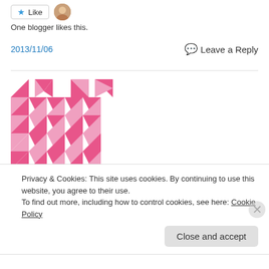[Figure (other): Like button with star icon and user avatar photo]
One blogger likes this.
2013/11/06   💬 Leave a Reply
[Figure (illustration): Pink and white geometric quilt pattern made of triangles arranged in a pinwheel/star pattern]
Privacy & Cookies: This site uses cookies. By continuing to use this website, you agree to their use.
To find out more, including how to control cookies, see here: Cookie Policy
Close and accept